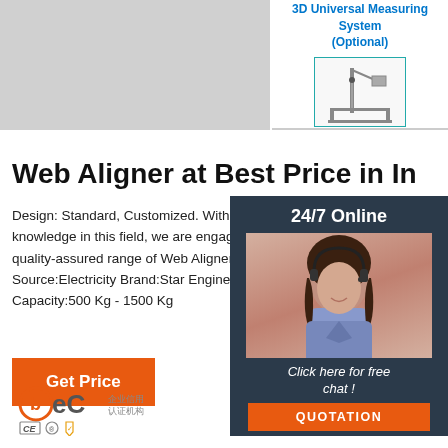[Figure (photo): Product image placeholder (gray rectangle) on top left]
[Figure (engineering-diagram): 3D Universal Measuring System (Optional) diagram with device illustration in teal border]
[Figure (photo): 24/7 Online customer service agent (woman with headset) with dark sidebar, click here for free chat, QUOTATION button]
Web Aligner at Best Price in In
Design: Standard, Customized. With our vas knowledge in this field, we are engaged in pr quality-assured range of Web Aligner Unit. P Source:Electricity Brand:Star Engineering W Capacity:500 Kg - 1500 Kg
[Figure (logo): BEC logo with certification icons CE and others]
[Figure (other): TOP arrow icon in orange/dark dots pointing upward with TOP text]